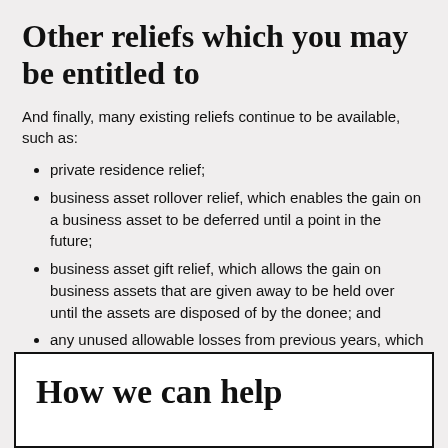Other reliefs which you may be entitled to
And finally, many existing reliefs continue to be available, such as:
private residence relief;
business asset rollover relief, which enables the gain on a business asset to be deferred until a point in the future;
business asset gift relief, which allows the gain on business assets that are given away to be held over until the assets are disposed of by the donee; and
any unused allowable losses from previous years, which can be brought forward in order to reduce any gains.
How we can help